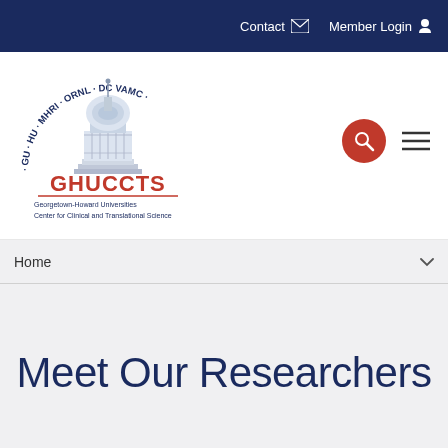Contact  Member Login
[Figure (logo): GHUCCTS logo — Georgetown-Howard Universities Center for Clinical and Translational Science, with Capitol building illustration and arc text reading GU · HU · MHRI · ORNL · DC VAMC]
Meet Our Researchers
Share This
Share This — social share icons: Twitter, Facebook, Email, Print, Share